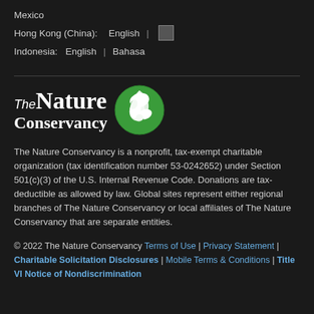Mexico
Hong Kong (China):   English  |  [icon]
Indonesia:   English  |  Bahasa
[Figure (logo): The Nature Conservancy logo with green globe icon]
The Nature Conservancy is a nonprofit, tax-exempt charitable organization (tax identification number 53-0242652) under Section 501(c)(3) of the U.S. Internal Revenue Code. Donations are tax-deductible as allowed by law. Global sites represent either regional branches of The Nature Conservancy or local affiliates of The Nature Conservancy that are separate entities.
© 2022 The Nature Conservancy Terms of Use | Privacy Statement | Charitable Solicitation Disclosures | Mobile Terms & Conditions | Title VI Notice of Nondiscrimination